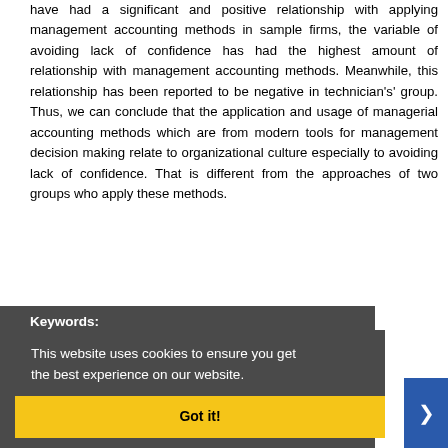have had a significant and positive relationship with applying management accounting methods in sample firms, the variable of avoiding lack of confidence has had the highest amount of relationship with management accounting methods. Meanwhile, this relationship has been reported to be negative in technician's' group. Thus, we can conclude that the application and usage of managerial accounting methods which are from modern tools for management decision making relate to organizational culture especially to avoiding lack of confidence. That is different from the approaches of two groups who apply these methods.
Keywords:
Organizational culture ; management accounting methods ; individual-oriented ; avoiding lack of confidence ; power distance
This website uses cookies to ensure you get the best experience on our website.
Main Subjects